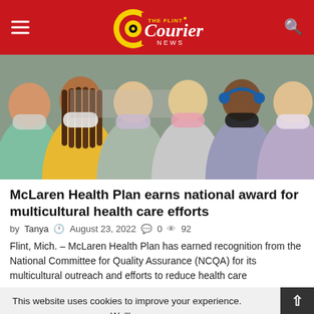The Flint Courier News
[Figure (photo): Group of diverse women wearing face masks, standing together in a row]
McLaren Health Plan earns national award for multicultural health care efforts
by Tanya  August 23, 2022  0  92
Flint, Mich. – McLaren Health Plan has earned recognition from the National Committee for Quality Assurance (NCQA) for its multicultural outreach and efforts to reduce health care
This website uses cookies to improve your experience. We'll as you're ok with this, but you can opt-out if you wish.
Read More